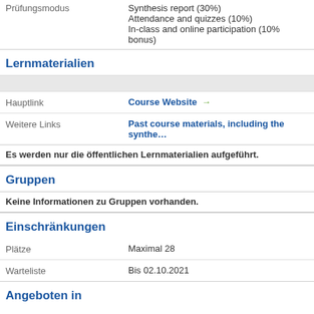Prüfungsmodus: Synthesis report (30%) / Attendance and quizzes (10%) / In-class and online participation (10% bonus)
Lernmaterialien
Hauptlink: Course Website →
Weitere Links: Past course materials, including the synthe…
Es werden nur die öffentlichen Lernmaterialien aufgeführt.
Gruppen
Keine Informationen zu Gruppen vorhanden.
Einschränkungen
Plätze: Maximal 28
Warteliste: Bis 02.10.2021
Angeboten in